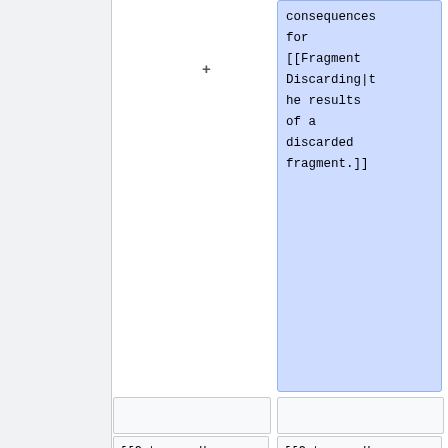[Figure (screenshot): Wikipedia diff view showing two columns. Right column highlighted in blue contains wikitext: 'consequences for [[Fragment Discarding|the results of a discarded fragment.]]'. Bottom row shows two cells each containing '[[Category:Hardware]]'.]
Latest revision as of 21:46, 5 January 2019
Early Fragment Test (sometimes called Early Depth Test) is a feature supported by many GPUs that allow the certain Per-Sample Processing tests that discard fragments to proceed before